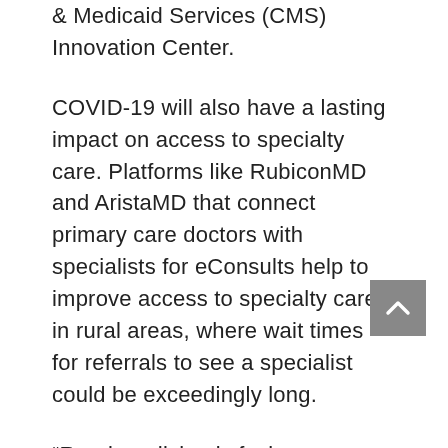& Medicaid Services (CMS) Innovation Center.
COVID-19 will also have a lasting impact on access to specialty care. Platforms like RubiconMD and AristaMD that connect primary care doctors with specialists for eConsults help to improve access to specialty care in rural areas, where wait times for referrals to see a specialist could be exceedingly long.
“Rural medicine is facing a shortage of over 20,000 physicians, a resource strain that has only intensified with the global pandemic,” CEO of RubiconMD Gil Addo said. “It’s more important than ever to empower PCPs in rural areas to